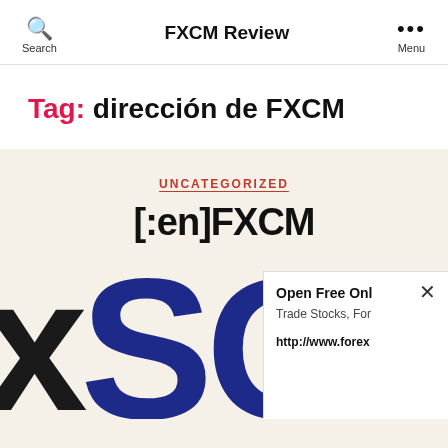FXCM Review
Tag: dirección de FXCM
UNCATEGORIZED
[:en]FXCM
[Figure (logo): Large letters xSQ in black and dark blue, partial FXCM logo]
Open Free Onl
Trade Stocks, For
http://www.forex